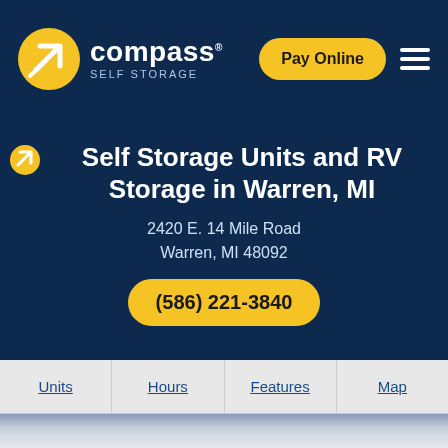[Figure (logo): Compass Self Storage logo: yellow circle with white arrow icon, 'compass' in white bold text, 'SELF STORAGE' in small caps]
Pay Online
Self Storage Units and RV Storage in Warren, MI
2420 E. 14 Mile Road
Warren, MI 48092
(586) 221-3840
Units
Hours
Features
Map
[Figure (photo): Exterior photo of a storage facility building with cloudy sky background]